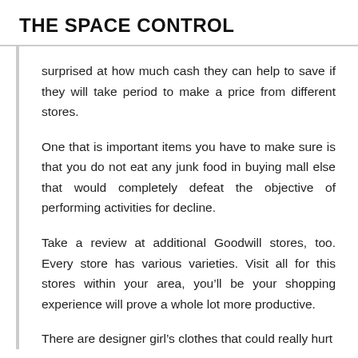THE SPACE CONTROL
surprised at how much cash they can help to save if they will take period to make a price from different stores.
One that is important items you have to make sure is that you do not eat any junk food in buying mall else that would completely defeat the objective of performing activities for decline.
Take a review at additional Goodwill stores, too. Every store has various varieties. Visit all for this stores within your area, you’ll be your shopping experience will prove a whole lot more productive.
There are designer girl’s clothes that could really hurt